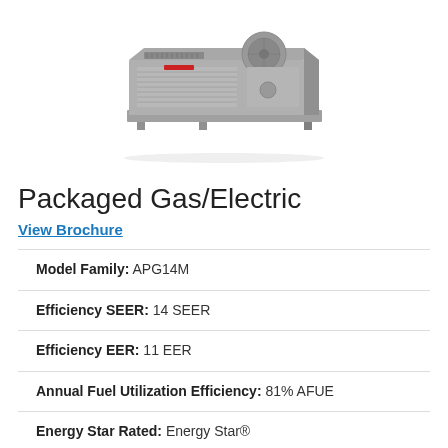[Figure (photo): Packaged gas/electric HVAC unit, grey colored rooftop unit, front and side view]
Packaged Gas/Electric
View Brochure
| Model Family: | APG14M |
| Efficiency SEER: | 14 SEER |
| Efficiency EER: | 11 EER |
| Annual Fuel Utilization Efficiency: | 81% AFUE |
| Energy Star Rated: | Energy Star® |
| Sound Level: | Quiet performance |